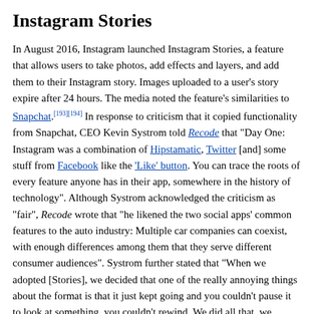Instagram Stories
In August 2016, Instagram launched Instagram Stories, a feature that allows users to take photos, add effects and layers, and add them to their Instagram story. Images uploaded to a user's story expire after 24 hours. The media noted the feature's similarities to Snapchat.[193][194] In response to criticism that it copied functionality from Snapchat, CEO Kevin Systrom told Recode that "Day One: Instagram was a combination of Hipstamatic, Twitter [and] some stuff from Facebook like the 'Like' button. You can trace the roots of every feature anyone has in their app, somewhere in the history of technology". Although Systrom acknowledged the criticism as "fair", Recode wrote that "he likened the two social apps' common features to the auto industry: Multiple car companies can coexist, with enough differences among them that they serve different consumer audiences". Systrom further stated that "When we adopted [Stories], we decided that one of the really annoying things about the format is that it just kept going and you couldn't pause it to look at something, you couldn't rewind. We did all that, we implemented that." He also told the publication that Snapchat "didn't have filters, originally. They adopted filters because Instagram had filters and a lot of others were trying to adopt filters as well."[195][196]